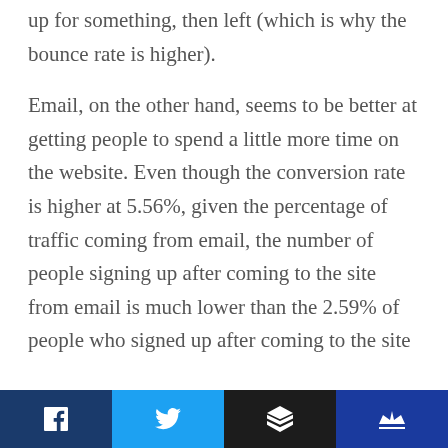up for something, then left (which is why the bounce rate is higher).
Email, on the other hand, seems to be better at getting people to spend a little more time on the website. Even though the conversion rate is higher at 5.56%, given the percentage of traffic coming from email, the number of people signing up after coming to the site from email is much lower than the 2.59% of people who signed up after coming to the site
Social share bar with Facebook, Twitter, Buffer, and crown icons